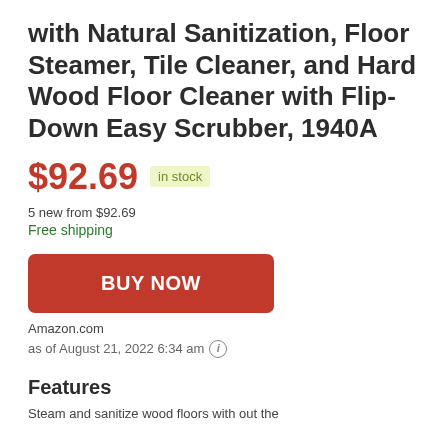with Natural Sanitization, Floor Steamer, Tile Cleaner, and Hard Wood Floor Cleaner with Flip-Down Easy Scrubber, 1940A
$92.69  in stock
5 new from $92.69
Free shipping
BUY NOW
Amazon.com
as of August 21, 2022 6:34 am
Features
Steam and sanitize wood floors with out the